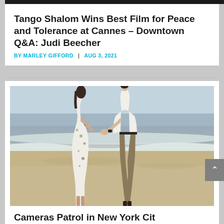Tango Shalom Wins Best Film for Peace and Tolerance at Cannes – Downtown Q&A: Judi Beecher
BY MARLEY GIFFORD | AUG 3, 2021
[Figure (photo): A couple holding hands on a beach at the water's edge. The woman is wearing a white floral dress and the man is wearing a white shirt and khaki trousers. Both are barefoot. Waves wash around their feet.]
Cameras Patrol in New York Cit...